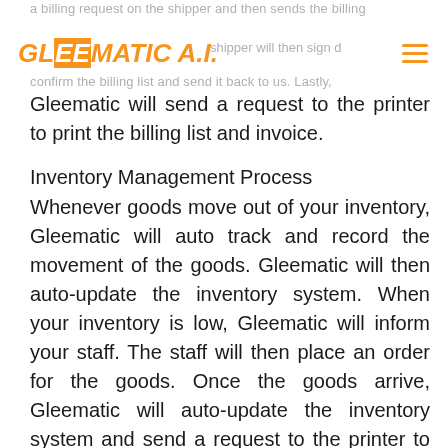a billing request on the shipper and then sends the billing confirm the billing list and send it back to us. Lastly,
Gleematic will send a request to the printer to print the billing list and invoice.
Inventory Management Process
Whenever goods move out of your inventory, Gleematic will auto track and record the movement of the goods. Gleematic will then auto-update the inventory system. When your inventory is low, Gleematic will inform your staff. The staff will then place an order for the goods. Once the goods arrive, Gleematic will auto-update the inventory system and send a request to the printer to print out the order receipt.